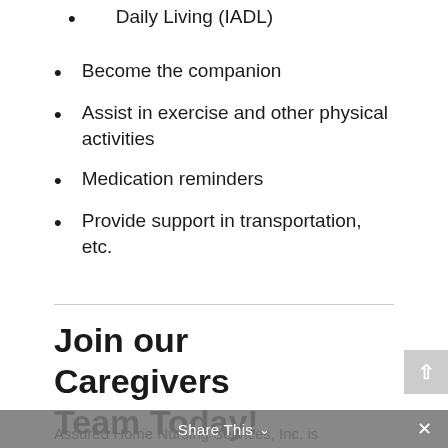Daily Living (IADL)
Become the companion
Assist in exercise and other physical activities
Medication reminders
Provide support in transportation, etc.
Join our Caregivers Team Today!
Assured Home Nursing Services, Inc. is